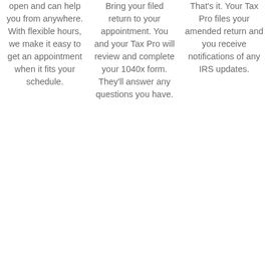open and can help you from anywhere. With flexible hours, we make it easy to get an appointment when it fits your schedule.
Bring your filed return to your appointment. You and your Tax Pro will review and complete your 1040x form. They'll answer any questions you have.
That's it. Your Tax Pro files your amended return and you receive notifications of any IRS updates.